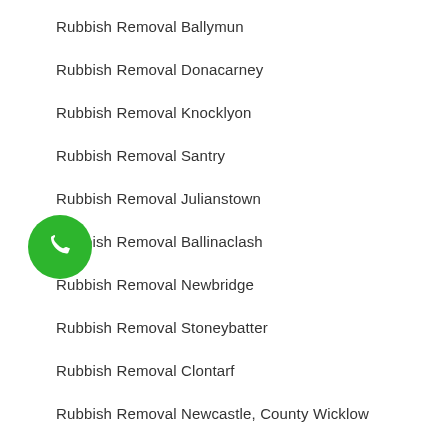Rubbish Removal Ballymun
Rubbish Removal Donacarney
Rubbish Removal Knocklyon
Rubbish Removal Santry
Rubbish Removal Julianstown
Rubbish Removal Ballinaclash
Rubbish Removal Newbridge
Rubbish Removal Stoneybatter
Rubbish Removal Clontarf
Rubbish Removal Newcastle, County Wicklow
[Figure (illustration): Green circular phone/call button icon]